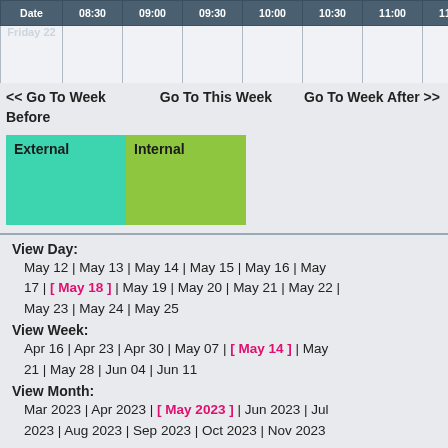| Date | 08:30 | 09:00 | 09:30 | 10:00 | 10:30 | 11:00 | 11:30 | 12:00 | 12:30 |
| --- | --- | --- | --- | --- | --- | --- | --- | --- | --- |
| Friday 22 |  |  |  |  |  |  |  |  |  |
| Sat May 20 |  |  |  |  |  |  |  |  |  |
<< Go To Week Before    Go To This Week    Go To Week After >>
| External | Internal |
| --- | --- |
View Day:
    May 12 | May 13 | May 14 | May 15 | May 16 | May 17 | [ May 18 ] | May 19 | May 20 | May 21 | May 22 | May 23 | May 24 | May 25
View Week:
    Apr 16 | Apr 23 | Apr 30 | May 07 | [ May 14 ] | May 21 | May 28 | Jun 04 | Jun 11
View Month:
    Mar 2023 | Apr 2023 | [ May 2023 ] | Jun 2023 | Jul 2023 | Aug 2023 | Sep 2023 | Oct 2023 | Nov 2023